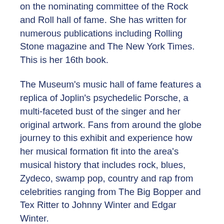on the nominating committee of the Rock and Roll hall of fame. She has written for numerous publications including Rolling Stone magazine and The New York Times.  This is her 16th book.
The Museum's music hall of fame features a replica of Joplin's psychedelic Porsche, a multi-faceted bust of the singer and her original artwork. Fans from around the globe journey to this exhibit and experience how her musical formation fit into the area's musical history that includes rock, blues, Zydeco, swamp pop, country and rap from celebrities ranging from The Big Bopper and Tex Ritter to Johnny Winter and Edgar Winter.
More of Janis in Port Arthur
Plan to stay over in Port Arthur and take a driving tour of Joplin's hometown area. Brochures of the